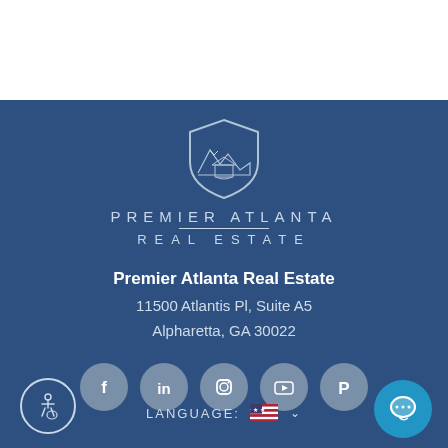[Figure (logo): Premier Atlanta Real Estate logo: shield/crest with house and mountains illustration, with text PREMIER ATLANTA / REAL ESTATE below]
Premier Atlanta Real Estate
11500 Atlantis Pl, Suite A5
Alpharetta, GA 30022
[Figure (illustration): Social media icons row: Facebook, LinkedIn, Instagram, YouTube, Pinterest — all in gray circles]
LANGUAGE: